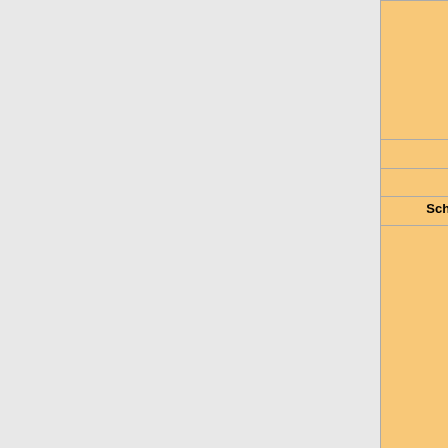| Na blízko | Smasher, Cro... Pummeler) · H... Scratcher · Sh... Annihilator · Ho... |
| Kill taunts | Hadouken · Ar... |
| Ability taunts | Mmmph |
| Schopnosti | Oheň · Vypuštění stlačeného vzd... |
|  | Pyro's Beanie · Brigade Helm · R... Tyrannus · Vintage Merryweather... Handle · Napper's Respite · Old C... Scarf · Prancer's Pride · Madame... Cone · Connoisseur's Cap · Hotti... Conscience · Flamboyant Flame... Angel · Last Breath · Tail From th... Belt · Moonman Backpack · Orna... Pack · Triclops · Professor's Pine... Orchestrina · Russian Rocketee... Tote · Coffin Kit · Exorcizor · Plu... · Bonedolier · Deadliest Duckling... Wonderland Wrap · Person in the... Escorter · Filamental · Firewall H... Pipe · Pyro's Boron Beanie · Res... Bag · Mair Mask · Centurion · Ste... Muchacho · Hive Minder · Pampe... Dome · Pop-Eyes · Special Eye... |